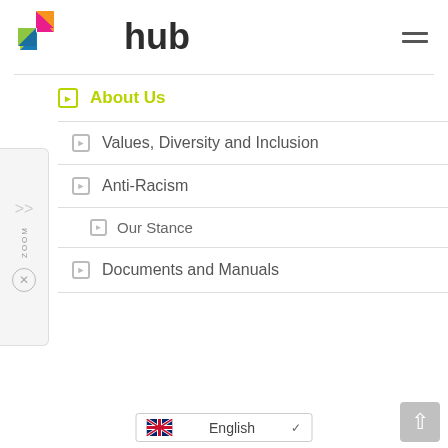[Figure (logo): The Hub logo with colorful triangular icon and the word 'hub' in dark text]
About Us
Values, Diversity and Inclusion
Anti-Racism
Our Stance
Documents and Manuals
English